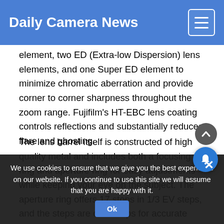Daily Camera News
element, two ED (Extra-low Dispersion) lens elements, and one Super ED element to minimize chromatic aberration and provide corner to corner sharpness throughout the zoom range. Fujifilm's HT-EBC lens coating controls reflections and substantially reduces flare and ghosting.
The lens barrel itself is constructed of high quality metal and includes both a focusing ring and aperture ring for easy adjustments while keeping your eye on the subject. The aperture ring offers 17 stops in 1/3 EV steps, and the steps are click stops for accurate manual
An advanced optical design covering a wide range of telephoto focal lengths with a 35mm format focal length equivalency of 84
We use cookies to ensure that we give you the best experience on our website. If you continue to use this site we will assume that you are happy with it.